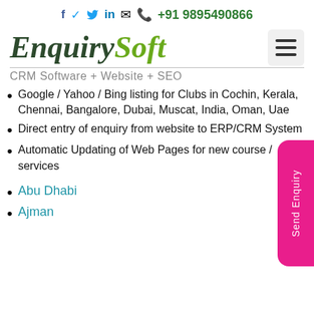f  🐦  in  ✉  📞 +91 9895490866
EnquirySoft
CRM Software + Website + SEO
Google / Yahoo / Bing listing for Clubs in Cochin, Kerala, Chennai, Bangalore, Dubai, Muscat, India, Oman, Uae
Direct entry of enquiry from website to ERP/CRM System
Automatic Updating of Web Pages for new course / services
Abu Dhabi
Ajman